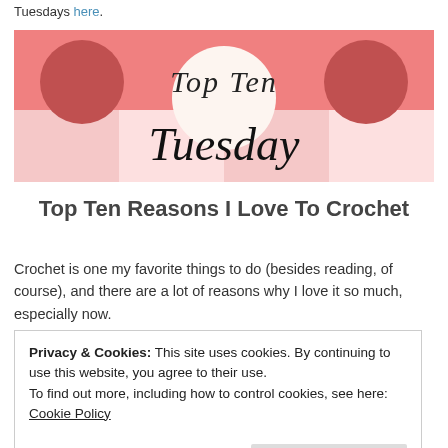Tuesdays here.
[Figure (illustration): Top Ten Tuesday banner with pink/salmon background, polka dot circles, handwritten-style text reading 'Top Ten Tuesday']
Top Ten Reasons I Love To Crochet
Crochet is one my favorite things to do (besides reading, of course), and there are a lot of reasons why I love it so much, especially now.
Privacy & Cookies: This site uses cookies. By continuing to use this website, you agree to their use.
To find out more, including how to control cookies, see here: Cookie Policy
Close and accept